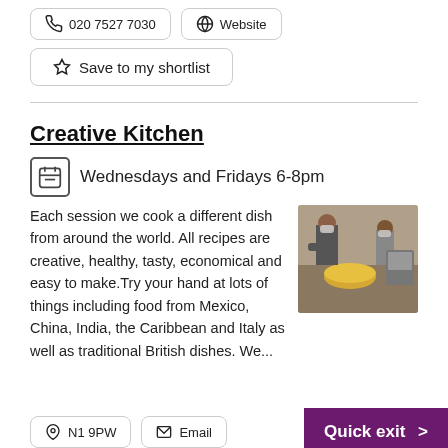020 7527 7030
Website
Save to my shortlist
Creative Kitchen
Wednesdays and Fridays 6-8pm
Each session we cook a different dish from around the world. All recipes are creative, healthy, tasty, economical and easy to make.Try your hand at lots of things including food from Mexico, China, India, the Caribbean and Italy as well as traditional British dishes. We...
[Figure (photo): People cooking in a commercial kitchen, wearing masks, stirring a large pan of food.]
N1 9PW
Email
Quick exit >